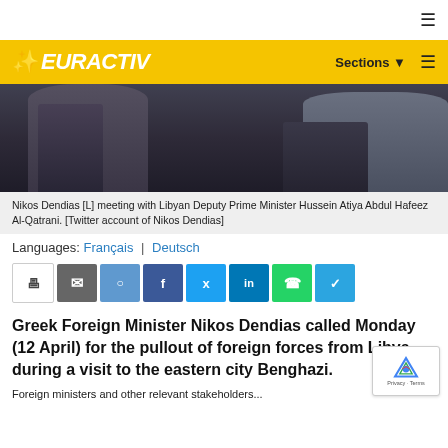[Figure (photo): Nikos Dendias meeting with Libyan Deputy Prime Minister Hussein Atiya Abdul Hafeez Al-Qatrani, two figures at podiums in a formal setting]
Nikos Dendias [L] meeting with Libyan Deputy Prime Minister Hussein Atiya Abdul Hafeez Al-Qatrani. [Twitter account of Nikos Dendias]
Languages: Français | Deutsch
Greek Foreign Minister Nikos Dendias called Monday (12 April) for the pullout of foreign forces from Libya, during a visit to the eastern city Benghazi.
Foreign ministers and other relevant stakeholders...